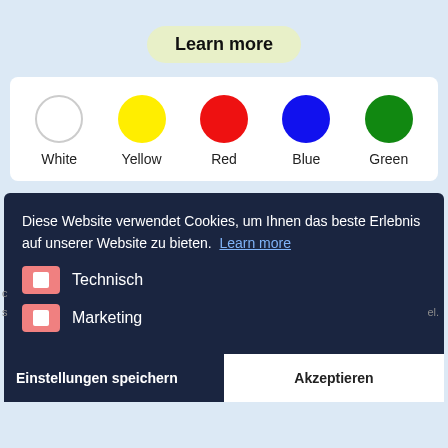Learn more
[Figure (infographic): Five color swatches in circles labeled White, Yellow, Red, Blue, Green]
Diese Website verwendet Cookies, um Ihnen das beste Erlebnis auf unserer Website zu bieten. Learn more
Technisch (toggle checkbox)
Marketing (toggle checkbox)
Einstellungen speichern
Akzeptieren